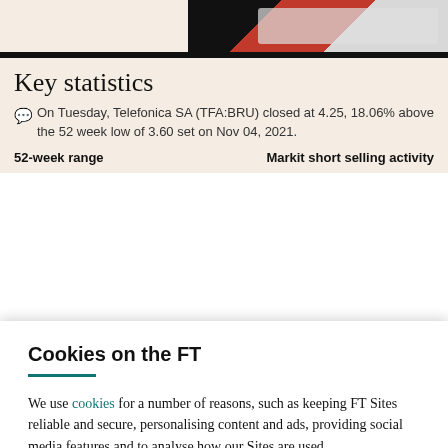[Figure (photo): Partial image of a laptop with red and white design on a cream background]
Key statistics
On Tuesday, Telefonica SA (TFA:BRU) closed at 4.25, 18.06% above the 52 week low of 3.60 set on Nov 04, 2021.
52-week range    Markit short selling activity
Cookies on the FT
We use cookies for a number of reasons, such as keeping FT Sites reliable and secure, personalising content and ads, providing social media features and to analyse how our Sites are used.
Manage cookies
Accept & continue